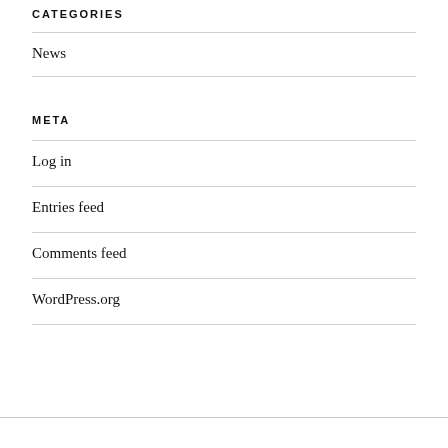CATEGORIES
News
META
Log in
Entries feed
Comments feed
WordPress.org